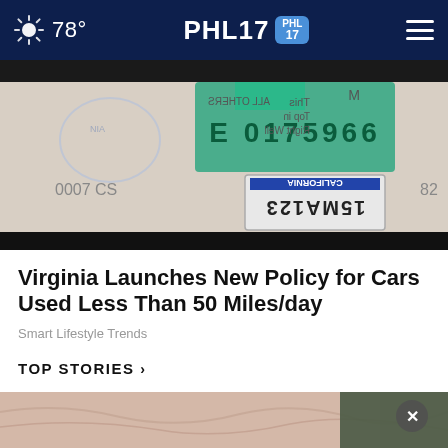78° PHL17
[Figure (photo): Close-up photo of a vehicle registration sticker/tag showing 'E 0175966' on a green sticker background, with a California license plate label reading '15MA123' (shown upside down), and partial text reading 'ALL OTHERS', 'Top In', 'Right Well'. Numbers '0007 CS' visible on left side.]
Virginia Launches New Policy for Cars Used Less Than 50 Miles/day
Smart Lifestyle Trends
TOP STORIES ›
[Figure (photo): Photo showing close-up of elderly person's wrinkled skin (face/neck area), with a dark overlay button showing an X (close button) in the upper right of the image.]